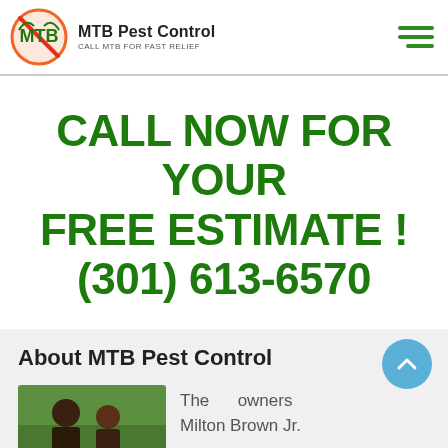MTB Pest Control — CALL MTB FOR FAST RELIEF
CALL NOW FOR YOUR FREE ESTIMATE ! (301) 613-6570
About MTB Pest Control
The owners Milton Brown Jr.
[Figure (photo): Photo of two men (owners of MTB Pest Control) outdoors with green foliage background]